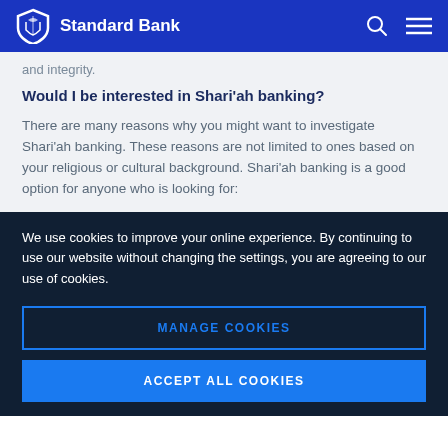Standard Bank
and integrity.
Would I be interested in Shari'ah banking?
There are many reasons why you might want to investigate Shari'ah banking. These reasons are not limited to ones based on your religious or cultural background. Shari'ah banking is a good option for anyone who is looking for:
We use cookies to improve your online experience. By continuing to use our website without changing the settings, you are agreeing to our use of cookies.
MANAGE COOKIES
ACCEPT ALL COOKIES